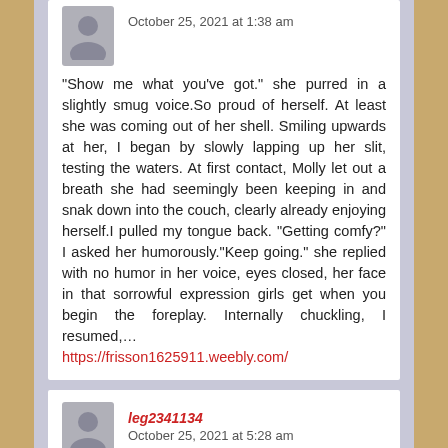October 25, 2021 at 1:38 am
“Show me what you’ve got.” she purred in a slightly smug voice.So proud of herself. At least she was coming out of her shell. Smiling upwards at her, I began by slowly lapping up her slit, testing the waters. At first contact, Molly let out a breath she had seemingly been keeping in and snak down into the couch, clearly already enjoying herself.I pulled my tongue back. “Getting comfy?” I asked her humorously.“Keep going.” she replied with no humor in her voice, eyes closed, her face in that sorrowful expression girls get when you begin the foreplay. Internally chuckling, I resumed,…
https://frisson1625911.weebly.com/
leg2341134
October 25, 2021 at 5:28 am
“Ah yes,” Kigali agreed. “I know just the